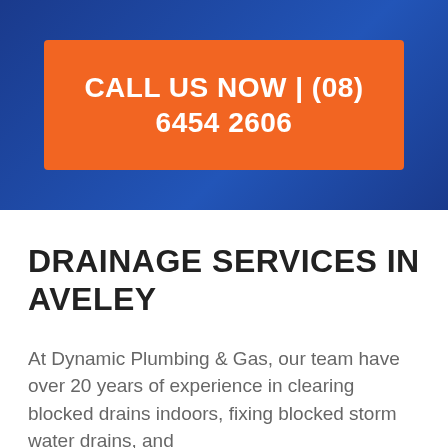CALL US NOW | (08) 6454 2606
DRAINAGE SERVICES IN AVELEY
At Dynamic Plumbing & Gas, our team have over 20 years of experience in clearing blocked drains indoors, fixing blocked storm water drains, and